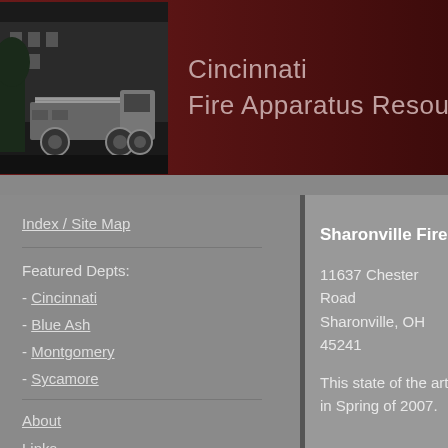[Figure (logo): Cincinnati Fire Apparatus Resource website header with fire truck photo on left and title text on right against dark red/maroon gradient background]
Cincinnati
Fire Apparatus Resource
Index / Site Map
Featured Depts:
- Cincinnati
- Blue Ash
- Montgomery
- Sycamore
About
Links
Sharonville Fire Department - St
11637 Chester Road
Sharonville, OH 45241
This state of the art 4-bay, drive-through fa in Spring of 2007.